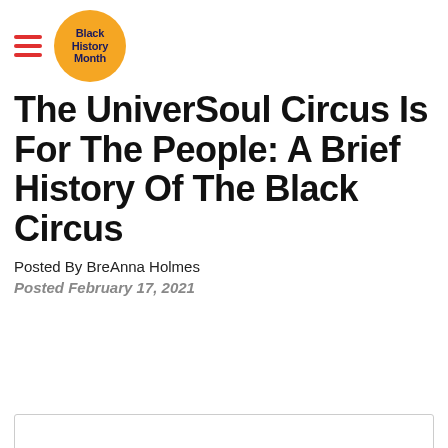Black History Month [logo]
The UniverSoul Circus Is For The People: A Brief History Of The Black Circus
Posted By BreAnna Holmes
Posted February 17, 2021
[Figure (other): Empty white space area below article metadata]
[Figure (other): Advertisement bar with thin border]
[Figure (other): Video thumbnail with dark background, colorful circles pattern, play button, and Black History Month text. Navigation dots visible at bottom.]